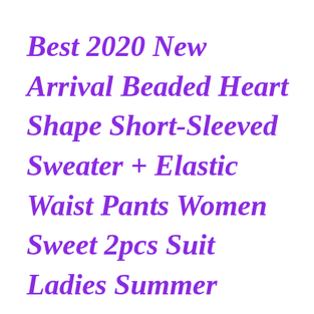Best 2020 New Arrival Beaded Heart Shape Short-Sleeved Sweater + Elastic Waist Pants Women Sweet 2pcs Suit Ladies Summer Clothing Set